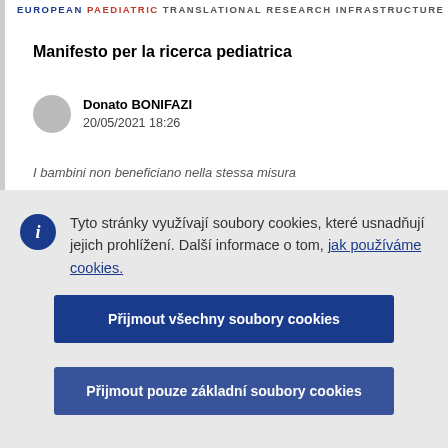EUROPEAN PAEDIATRIC TRANSLATIONAL RESEARCH INFRASTRUCTURE
Manifesto per la ricerca pediatrica
Donato BONIFAZI
20/05/2021 18:26
I bambini non beneficiano nella stessa misura...
Tyto stránky využívají soubory cookies, které usnadňují jejich prohlížení. Další informace o tom, jak používáme cookies.
Přijmout všechny soubory cookies
Přijmout pouze základní soubory cookies